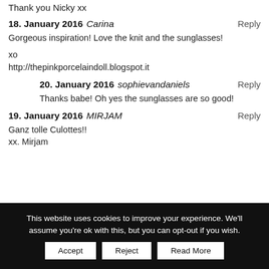Thank you Nicky xx
18. January 2016 Carina
Reply
Gorgeous inspiration! Love the knit and the sunglasses!

xo
http://thepinkporcelaindoll.blogspot.it
20. January 2016 sophievandaniels
Reply
Thanks babe! Oh yes the sunglasses are so good!
19. January 2016 MIRJAM
Reply
Ganz tolle Culottes!!
xx. Mirjam
This website uses cookies to improve your experience. We'll assume you're ok with this, but you can opt-out if you wish.
Accept  Reject  Read More